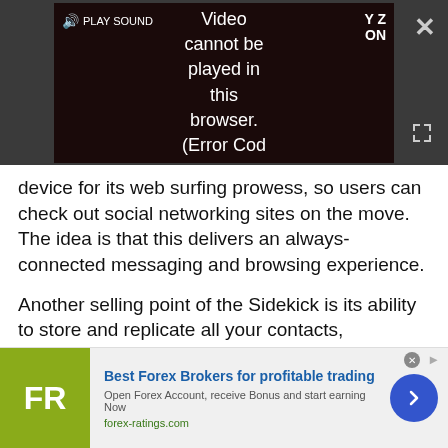[Figure (screenshot): Video player showing error message: 'Video cannot be played in this browser. (Error Cod' with PLAY SOUND button, YZ ON label, close button and expand button on dark background]
device for its web surfing prowess, so users can check out social networking sites on the move. The idea is that this delivers an always-connected messaging and browsing experience.
Another selling point of the Sidekick is its ability to store and replicate all your contacts, messages, calendar appointments and other organiser entries automatically online. Images too are uploaded when you snap them and save them to the phone.
[Figure (infographic): Advertisement banner for forex-ratings.com: FR logo in olive/yellow-green square, 'Best Forex Brokers for profitable trading' headline in blue bold, 'Open Forex Account, receive Bonus and start earning Now' subtitle, forex-ratings.com URL in green, blue circular arrow button on right]